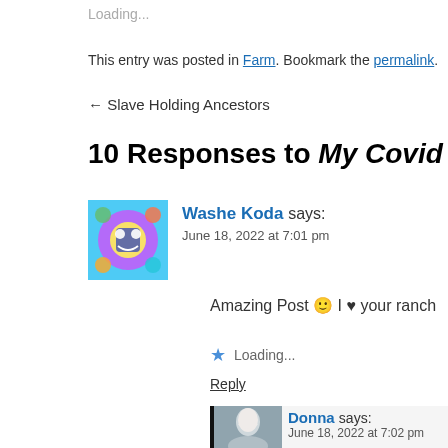Loading...
This entry was posted in Farm. Bookmark the permalink.
← Slave Holding Ancestors
10 Responses to My Covid and Quarantine
Washe Koda says: June 18, 2022 at 7:01 pm
Amazing Post 🙂 I ♥ your ranch
Loading...
Reply
Donna says: June 18, 2022 at 7:02 pm